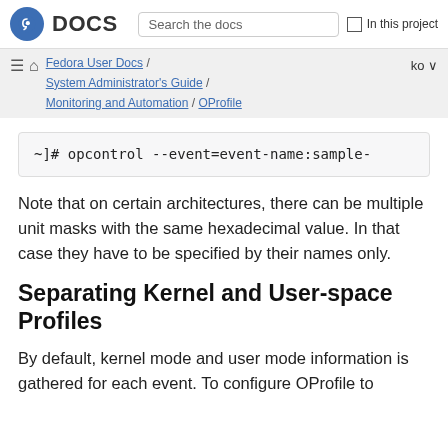Fedora DOCS | Search the docs | In this project
Fedora User Docs / System Administrator's Guide / Monitoring and Automation / OProfile | ko
~]# opcontrol --event=event-name:sample-
Note that on certain architectures, there can be multiple unit masks with the same hexadecimal value. In that case they have to be specified by their names only.
Separating Kernel and User-space Profiles
By default, kernel mode and user mode information is gathered for each event. To configure OProfile to